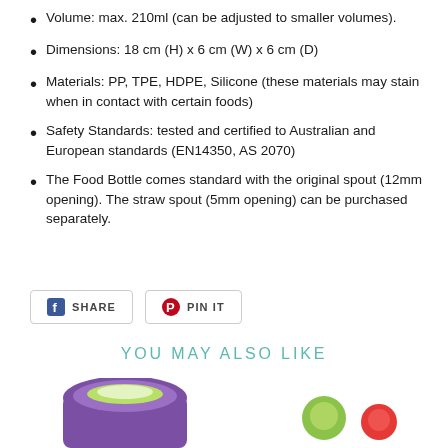Volume: max. 210ml (can be adjusted to smaller volumes).
Dimensions: 18 cm (H) x 6 cm (W) x 6 cm (D)
Materials: PP, TPE, HDPE, Silicone (these materials may stain when in contact with certain foods)
Safety Standards: tested and certified to Australian and European standards (EN14350, AS 2070)
The Food Bottle comes standard with the original spout (12mm opening). The straw spout (5mm opening) can be purchased separately.
[Figure (other): Social share buttons: Facebook SHARE and Pinterest PIN IT buttons with icons]
YOU MAY ALSO LIKE
[Figure (photo): Product photos showing food bottle and related products, partially visible at bottom of page]